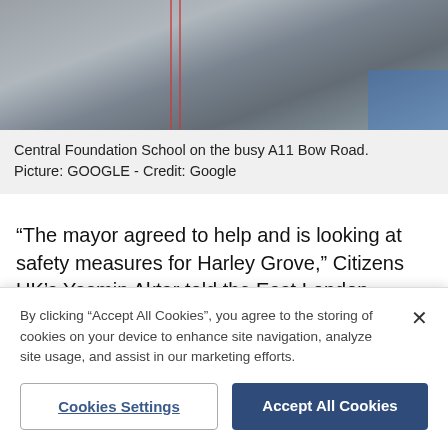[Figure (photo): Aerial/overhead street view photo of Central Foundation School on the busy A11 Bow Road, showing road markings and pavement]
Central Foundation School on the busy A11 Bow Road. Picture: GOOGLE - Credit: Google
“The mayor agreed to help and is looking at safety measures for Harley Grove,” Citizens UK’s Yasmin Aktar told the East London Advertiser this week.
“He is meeting council engineers to study the problem. It’s become manic at ‘home’ time, especially when parents arrive in cars to pick up the girls.
By clicking “Accept All Cookies”, you agree to the storing of cookies on your device to enhance site navigation, analyze site usage, and assist in our marketing efforts.
Cookies Settings
Accept All Cookies